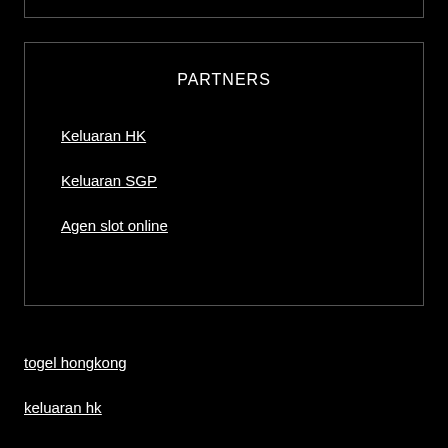PARTNERS
Keluaran HK
Keluaran SGP
Agen slot online
togel hongkong
keluaran hk